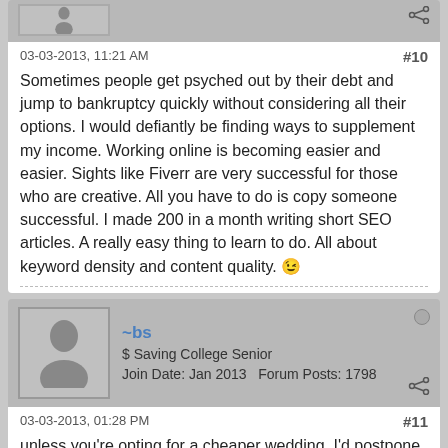[Figure (illustration): Partial view of a forum post top area with a grey avatar icon at the top and a share icon]
03-03-2013, 11:21 AM
#10
Sometimes people get psyched out by their debt and jump to bankruptcy quickly without considering all their options. I would defiantly be finding ways to supplement my income. Working online is becoming easier and easier. Sights like Fiverr are very successful for those who are creative. All you have to do is copy someone successful. I made 200 in a month writing short SEO articles. A really easy thing to learn to do. All about keyword density and content quality. 😉
[Figure (illustration): Forum user profile header with grey avatar silhouette, username ~bs, title $ Saving College Senior, Join Date Jan 2013, Forum Posts 1798, share icon, offline status dot]
03-03-2013, 01:28 PM
#11
unless you're opting for a cheaper wedding, I'd postpone it. I'd definitely postpone the home buying. Your car payment is high, but your debt definitely is manageable. Like others said, debt